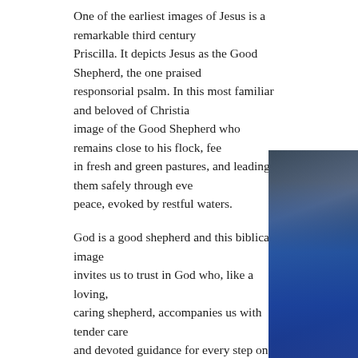One of the earliest images of Jesus is a remarkable third century... Priscilla. It depicts Jesus as the Good Shepherd, the one praised... responsorial psalm. In this most familiar and beloved of Christia... image of the Good Shepherd who remains close to his flock, fee... in fresh and green pastures, and leading them safely through eve... peace, evoked by restful waters.
God is a good shepherd and this biblical image invites us to trust in God who, like a loving, caring shepherd, accompanies us with tender care and devoted guidance for every step on the path of life.
[Figure (photo): A partially visible photo of a person wearing a blue garment, cropped on the right side of the page]
David, whose dramatic anointing by Samuel as king of Israel is described in our first reading, was chosen for this exalted role because of his deep and strong faith in God. God was not an abstract concept to David. Rather, God was a close personal guide. God was David’s rock, his...